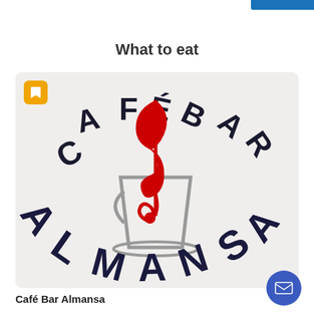What to eat
[Figure (logo): Café Bar Almansa logo: circular text reading CAFE BAR at the top in black, ALMANSA at the bottom in large dark navy bold letters, with a red treble clef musical note overlapping a gray coffee cup outline in the center, on a light background. A yellow bookmark button in the top-left corner of the image.]
Café Bar Almansa